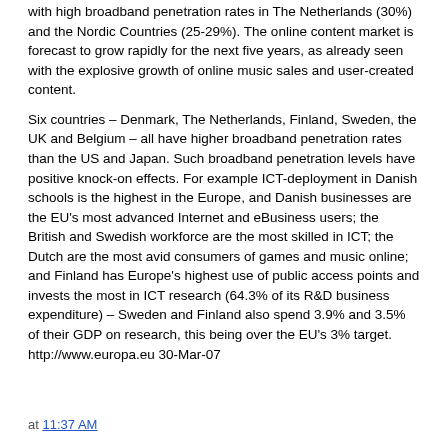with high broadband penetration rates in The Netherlands (30%) and the Nordic Countries (25-29%). The online content market is forecast to grow rapidly for the next five years, as already seen with the explosive growth of online music sales and user-created content.
Six countries – Denmark, The Netherlands, Finland, Sweden, the UK and Belgium – all have higher broadband penetration rates than the US and Japan. Such broadband penetration levels have positive knock-on effects. For example ICT-deployment in Danish schools is the highest in the Europe, and Danish businesses are the EU's most advanced Internet and eBusiness users; the British and Swedish workforce are the most skilled in ICT; the Dutch are the most avid consumers of games and music online; and Finland has Europe's highest use of public access points and invests the most in ICT research (64.3% of its R&D business expenditure) – Sweden and Finland also spend 3.9% and 3.5% of their GDP on research, this being over the EU's 3% target. http://www.europa.eu 30-Mar-07
at 11:37 AM